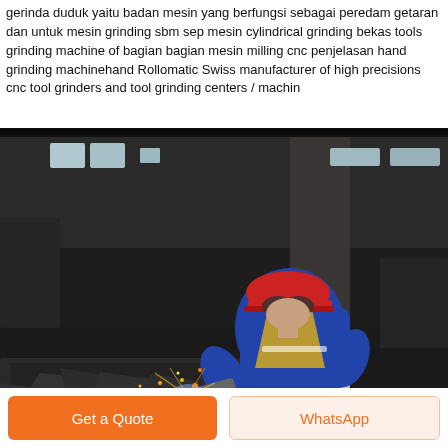gerinda duduk yaitu badan mesin yang berfungsi sebagai peredam getaran dan untuk mesin grinding sbm sep mesin cylindrical grinding bekas tools grinding machine of bagian bagian mesin milling cnc penjelasan hand grinding machinehand Rollomatic Swiss manufacturer of high precisions cnc tool grinders and tool grinding centers / machin
[Figure (photo): A worker wearing a red hard hat, safety goggles, blue jacket, and yellow vest crouches over industrial grinding/welding work on a metal surface inside a factory, with sparks flying.]
Get a Quote
WhatsApp